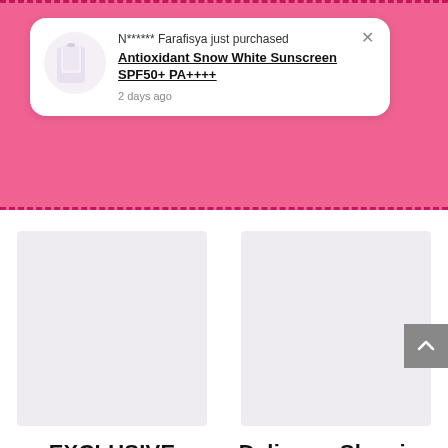[Figure (screenshot): Pink promotional banner background with dashed border at top and bottom]
N****** Farafisya just purchased
Antioxidant Snow White Sunscreen SPF50+ PA++++
2 days ago
[Figure (photo): Product image placeholder for EXCLUSIVE BODYCARE - light lavender/grey rectangle]
EXCLUSIVE BODYCARE
Haruman mewah rose
[Figure (photo): Product image placeholder for Delimara Sleeping Mask - light lavender/grey rectangle]
Delimara Sleeping Mask
View more